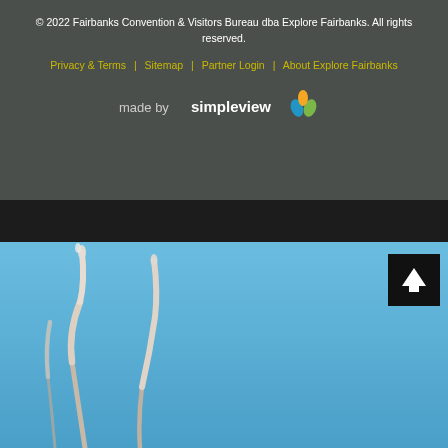© 2022 Fairbanks Convention & Visitors Bureau dba Explore Fairbanks. All rights reserved.
Privacy & Terms | Sitemap | Partner Login | About Explore Fairbanks
[Figure (logo): made by simpleview logo with colorful droplet icon]
[Figure (photo): Blue sky background with frost-covered plant stems/branches in the foreground, with a black back-to-top arrow button in the lower right]